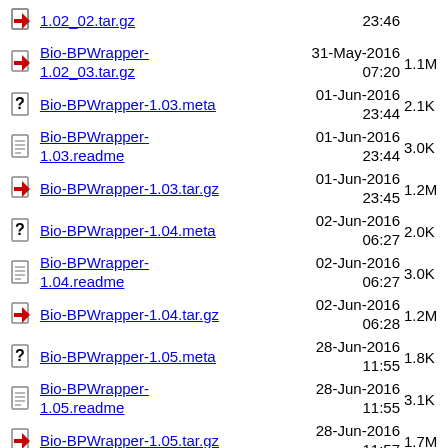Bio-BPWrapper-1.02_02.tar.gz  23:46  ...
Bio-BPWrapper-1.02_03.tar.gz  31-May-2016 07:20  1.1M
Bio-BPWrapper-1.03.meta  01-Jun-2016 23:44  2.1K
Bio-BPWrapper-1.03.readme  01-Jun-2016 23:44  3.0K
Bio-BPWrapper-1.03.tar.gz  01-Jun-2016 23:45  1.2M
Bio-BPWrapper-1.04.meta  02-Jun-2016 06:27  2.0K
Bio-BPWrapper-1.04.readme  02-Jun-2016 06:27  3.0K
Bio-BPWrapper-1.04.tar.gz  02-Jun-2016 06:28  1.2M
Bio-BPWrapper-1.05.meta  28-Jun-2016 11:55  1.8K
Bio-BPWrapper-1.05.readme  28-Jun-2016 11:55  3.1K
Bio-BPWrapper-1.05.tar.gz  28-Jun-2016 11:57  1.7M
Bio-BPWrapper-1.06.meta  29-Jun-2016 19:22  1.9K